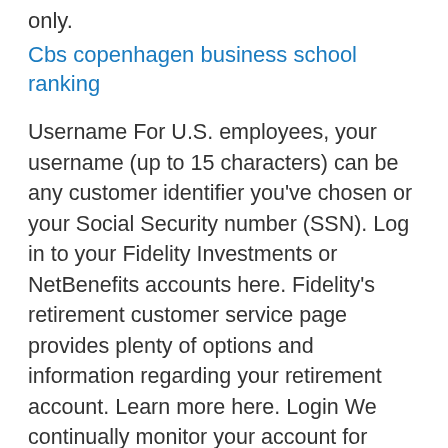only.
Cbs copenhagen business school ranking
Username For U.S. employees, your username (up to 15 characters) can be any customer identifier you've chosen or your Social Security number (SSN). Log in to your Fidelity Investments or NetBenefits accounts here. Fidelity's retirement customer service page provides plenty of options and information regarding your retirement account. Learn more here. Login We continually monitor your account for fraudulent activity, including any merchant data breaches. It's always smart to review your account activity and to call the number on the back of your card about unrecognized charges. Read a fund's or pool's prospectus or offering memorandum and speak to an advisor before investing.